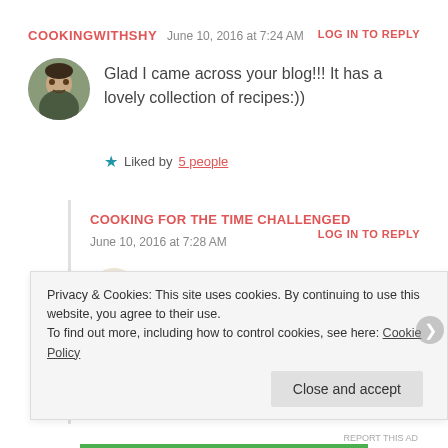COOKINGWITHSHY  June 10, 2016 at 7:24 AM  LOG IN TO REPLY
Glad I came across your blog!!! It has a lovely collection of recipes:))
★ Liked by 5 people
COOKING FOR THE TIME CHALLENGED
June 10, 2016 at 7:28 AM  LOG IN TO REPLY
Thank you! I must come by to visit your
Privacy & Cookies: This site uses cookies. By continuing to use this website, you agree to their use.
To find out more, including how to control cookies, see here: Cookie Policy
Close and accept